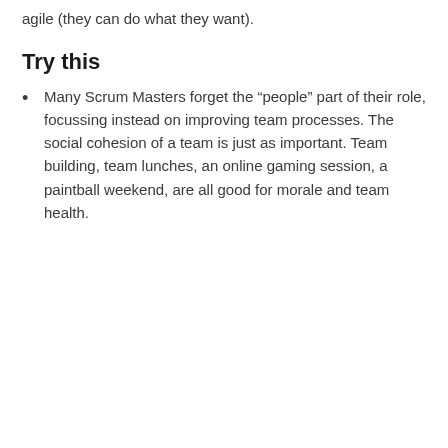agile (they can do what they want).
Try this
Many Scrum Masters forget the “people” part of their role, focussing instead on improving team processes. The social cohesion of a team is just as important. Team building, team lunches, an online gaming session, a paintball weekend, are all good for morale and team health.